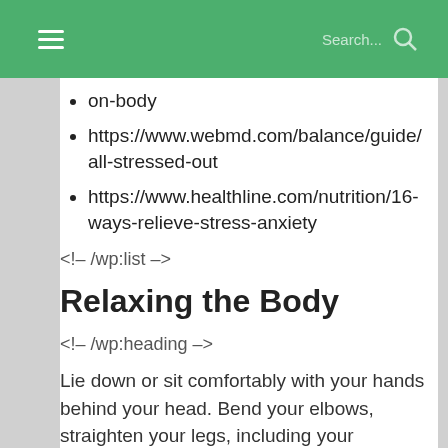Navigation header with hamburger menu and search
https://www.webmd.com/balance/guide/all-stressed-out
https://www.healthline.com/nutrition/16-ways-relieve-stress-anxiety
<!– /wp:list –>
Relaxing the Body
<!– /wp:heading –>
Lie down or sit comfortably with your hands behind your head. Bend your elbows, straighten your legs, including your